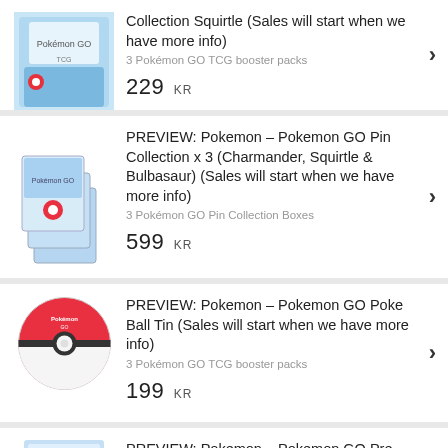[Figure (photo): Pokemon GO TCG product box image]
Collection Squirtle (Sales will start when we have more info)
3 Pokémon GO TCG booster packs
229 KR
[Figure (photo): Stack of Pokemon GO Pin Collection boxes]
PREVIEW: Pokemon – Pokemon GO Pin Collection x 3 (Charmander, Squirtle & Bulbasaur) (Sales will start when we have more info)
3 Pokémon GO Pin Collection Boxes
599 KR
[Figure (photo): Pokemon GO Poke Ball Tin red and white]
PREVIEW: Pokemon – Pokemon GO Poke Ball Tin (Sales will start when we have more info)
3 Pokémon GO TCG booster packs
199 KR
[Figure (photo): Pokemon GO product partial image]
PREVIEW: Pokemon – Pokemon GO Pre